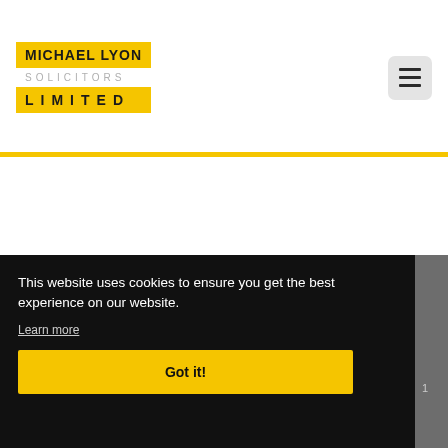[Figure (logo): Michael Lyon Solicitors Limited logo with yellow background bars]
[Figure (other): Hamburger menu icon button (three horizontal lines) on light gray rounded square background]
This website uses cookies to ensure you get the best experience on our website.
Learn more
Got it!